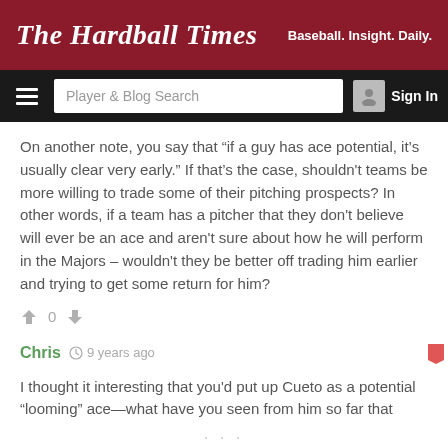The Hardball Times — Baseball. Insight. Daily.
On another note, you say that "if a guy has ace potential, it's usually clear very early." If that's the case, shouldn't teams be more willing to trade some of their pitching prospects? In other words, if a team has a pitcher that they don't believe will ever be an ace and aren't sure about how he will perform in the Majors – wouldn't they be better off trading him earlier and trying to get some return for him?
Chris  9 years ago
I thought it interesting that you'd put up Cueto as a potential "looming" ace—what have you seen from him so far that